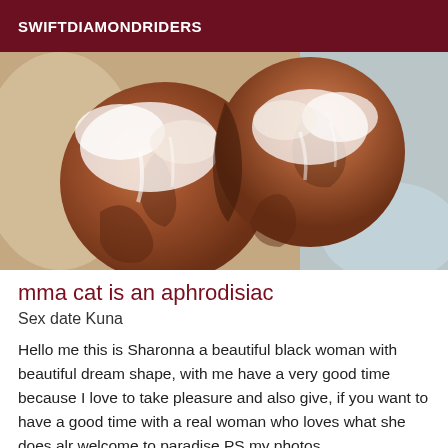SWIFTDIAMONDRIDERS
[Figure (photo): Close-up photo of rounded organic shapes (knees or elbows) with white foam/powder on brown skin, against a light background]
mma cat is an aphrodisiac
Sex date Kuna
Hello me this is Sharonna a beautiful black woman with beautiful dream shape, with me have a very good time because I love to take pleasure and also give, if you want to have a good time with a real woman who loves what she does alr welcome to paradise PS my photos